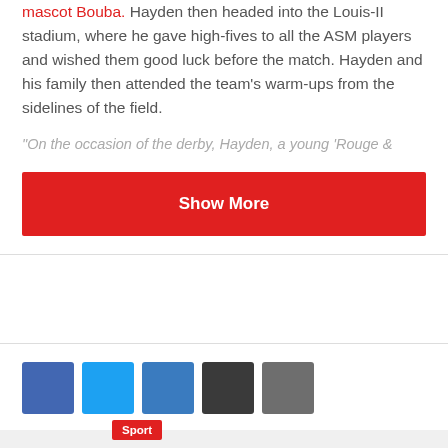mascot Bouba. Hayden then headed into the Louis-II stadium, where he gave high-fives to all the ASM players and wished them good luck before the match. Hayden and his family then attended the team's warm-ups from the sidelines of the field.
"On the occasion of the derby, Hayden, a young 'Rouge &
Show More
[Figure (infographic): Row of five social media share icon buttons: Facebook (blue), Twitter (light blue), LinkedIn (steel blue), Email (dark gray), More (gray)]
Sport